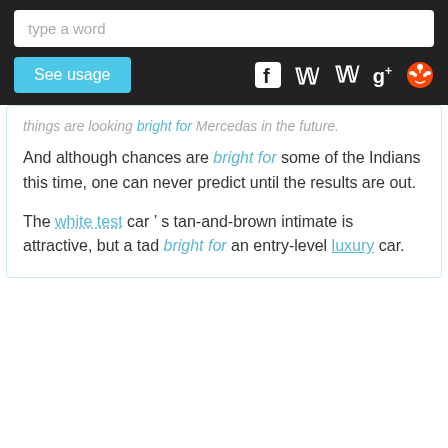type a word
See usage
things are looking bright for Mercedas in the future.
And although chances are bright for some of the Indians this time, one can never predict until the results are out.
The white test car &#x2019; s tan-and-brown intimate is attractive, but a tad bright for an entry-level luxury car.